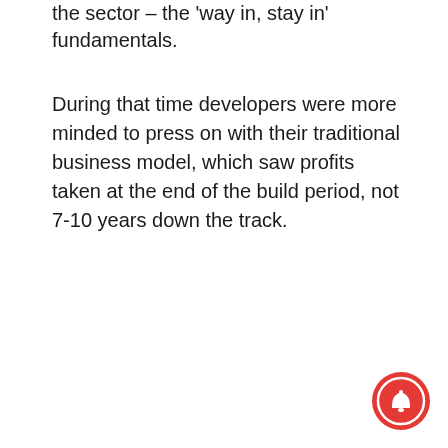the sector – the 'way in, stay in' fundamentals.
During that time developers were more minded to press on with their traditional business model, which saw profits taken at the end of the build period, not 7-10 years down the track.
[Figure (other): Red circular notification bell button in the bottom-right corner of the page]